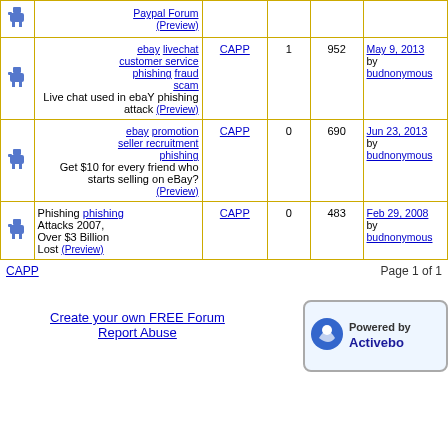|  | Topic | Forum | Replies | Views | Last Post |
| --- | --- | --- | --- | --- | --- |
| [icon] | Paypal Forum (Preview) |  |  |  |  |
| [icon] | ebay livechat customer service phishing fraud scam
Live chat used in ebaY phishing attack (Preview) | CAPP | 1 | 952 | May 9, 2013 by budnonymous |
| [icon] | ebay promotion seller recruitment phishing
Get $10 for every friend who starts selling on eBay? (Preview) | CAPP | 0 | 690 | Jun 23, 2013 by budnonymous |
| [icon] | Phishing phishing Attacks 2007, Over $3 Billion Lost (Preview) | CAPP | 0 | 483 | Feb 29, 2008 by budnonymous |
CAPP
Page 1 of 1
Create your own FREE Forum
Report Abuse
[Figure (logo): Powered by Activeboard logo]